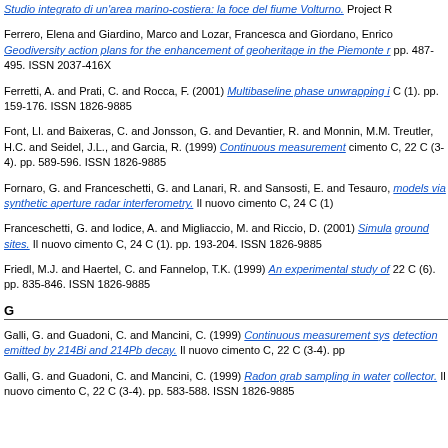Studio integrato di un'area marino-costiera: la foce del fiume Volturno. Project R...
Ferrero, Elena and Giardino, Marco and Lozar, Francesca and Giordano, Enrico — Geodiversity action plans for the enhancement of geoheritage in the Piemonte r... pp. 487-495. ISSN 2037-416X
Ferretti, A. and Prati, C. and Rocca, F. (2001) Multibaseline phase unwrapping i... C (1). pp. 159-176. ISSN 1826-9885
Font, Ll. and Baixeras, C. and Jonsson, G. and Devantier, R. and Monnin, M.M. and Treutler, H.C. and Seidel, J.L., and Garcia, R. (1999) Continuous measurement... cimento C, 22 C (3-4). pp. 589-596. ISSN 1826-9885
Fornaro, G. and Franceschetti, G. and Lanari, R. and Sansosti, E. and Tesauro,... models via synthetic aperture radar interferometry. Il nuovo cimento C, 24 C (1)...
Franceschetti, G. and Iodice, A. and Migliaccio, M. and Riccio, D. (2001) Simula... ground sites. Il nuovo cimento C, 24 C (1). pp. 193-204. ISSN 1826-9885
Friedl, M.J. and Haertel, C. and Fannelop, T.K. (1999) An experimental study of... 22 C (6). pp. 835-846. ISSN 1826-9885
G
Galli, G. and Guadoni, C. and Mancini, C. (1999) Continuous measurement sys... detection emitted by 214Bi and 214Pb decay. Il nuovo cimento C, 22 C (3-4). pp...
Galli, G. and Guadoni, C. and Mancini, C. (1999) Radon grab sampling in water... collector. Il nuovo cimento C, 22 C (3-4). pp. 583-588. ISSN 1826-9885